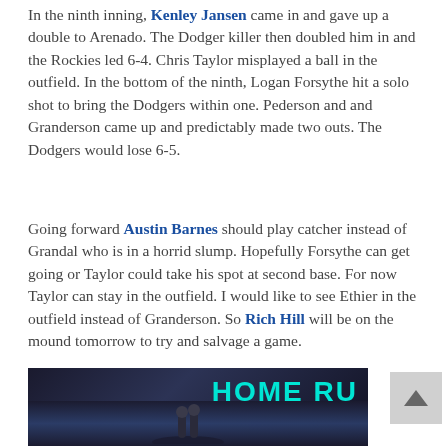In the ninth inning, Kenley Jansen came in and gave up a double to Arenado. The Dodger killer then doubled him in and the Rockies led 6-4. Chris Taylor misplayed a ball in the outfield. In the bottom of the ninth, Logan Forsythe hit a solo shot to bring the Dodgers within one. Pederson and and Granderson came up and predictably made two outs. The Dodgers would lose 6-5.
Going forward Austin Barnes should play catcher instead of Grandal who is in a horrid slump. Hopefully Forsythe can get going or Taylor could take his spot at second base. For now Taylor can stay in the outfield. I would like to see Ethier in the outfield instead of Granderson. So Rich Hill will be on the mound tomorrow to try and salvage a game.
[Figure (photo): A dark photo of a baseball stadium showing a 'HOME RU[N]' sign in teal/cyan text on the scoreboard, with a crowd visible below and a red bar on the left side of the image.]